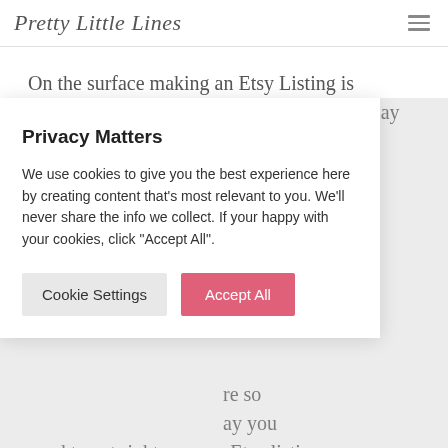Pretty Little Lines
On the surface making an Etsy Listing is actually not that hard.  In fact, some might say slapping up an Etsy listing is
Privacy Matters
We use cookies to give you the best experience here by creating content that's most relevant to you. We'll never share the info we collect. If your happy with your cookies, click "Accept All".
Cookie Settings   Accept All
re so ay you need to get right on your Etsy listing.